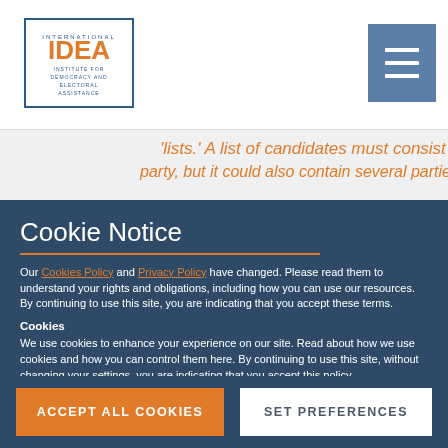[Figure (logo): International IDEA logo — Institute for Democracy and Electoral Assistance, blue border box with IDEA text]
[Figure (other): Hamburger menu icon (three horizontal white lines on steel blue background)]
'lists.' A list of candidates must consist of at least one party, but it could also contain several parties. (
Cookie Notice
Our Cookies Policy and Privacy Policy have changed. Please read them to understand your rights and obligations, including how you can use our resources. By continuing to use this site, you are indicating that you accept these terms.
Cookies
We use cookies to enhance your experience on our site. Read about how we use cookies and how you can control them here. By continuing to use this site, without changing your settings, you are indicating that you accept this policy.
ACCEPT ALL COOKIES
SET PREFERENCES